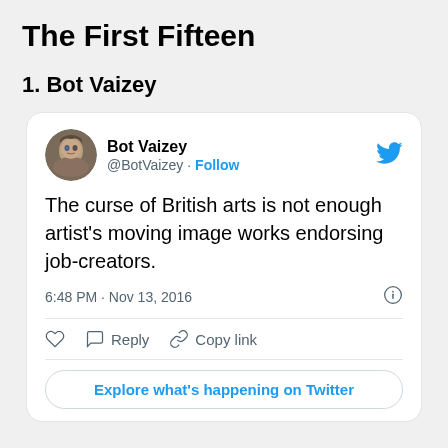The First Fifteen
1. Bot Vaizey
[Figure (screenshot): Embedded tweet from @BotVaizey reading: 'The curse of British arts is not enough artist's moving image works endorsing job-creators.' Posted 6:48 PM · Nov 13, 2016. Includes Follow button, like/reply/copy link actions, and Explore what's happening on Twitter button.]